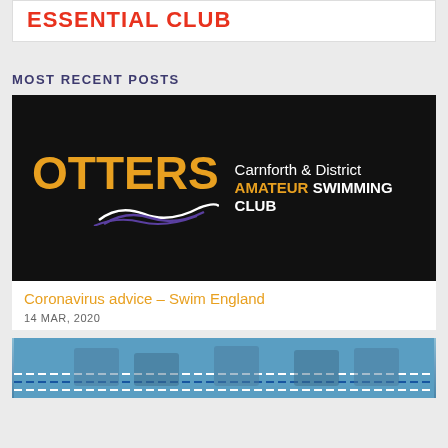ESSENTIAL CLUB
MOST RECENT POSTS
[Figure (logo): Otters Carnforth & District Amateur Swimming Club logo on black background]
Coronavirus advice – Swim England
14 MAR, 2020
[Figure (photo): Swimmers at pool, second post thumbnail]